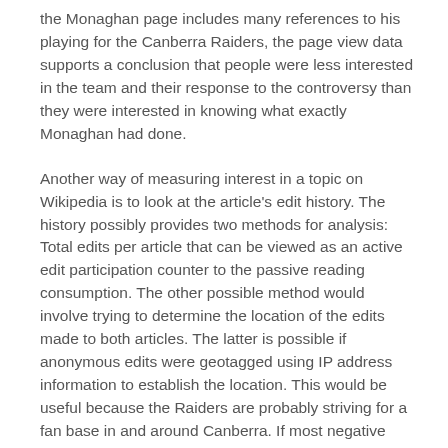the Monaghan page includes many references to his playing for the Canberra Raiders, the page view data supports a conclusion that people were less interested in the team and their response to the controversy than they were interested in knowing what exactly Monaghan had done.
Another way of measuring interest in a topic on Wikipedia is to look at the article's edit history. The history possibly provides two methods for analysis: Total edits per article that can be viewed as an active edit participation counter to the passive reading consumption. The other possible method would involve trying to determine the location of the edits made to both articles. The latter is possible if anonymous edits were geotagged using IP address information to establish the location. This would be useful because the Raiders are probably striving for a fan base in and around Canberra. If most negative edits are coming from inside Canberra, that would be more problematic in terms of maintaining a local fan base than if the edits were coming from outside of Australia or in Australian locations that are not traditional NRL bases. This type of analysis, while possible, is extremely unreliable; many programs that